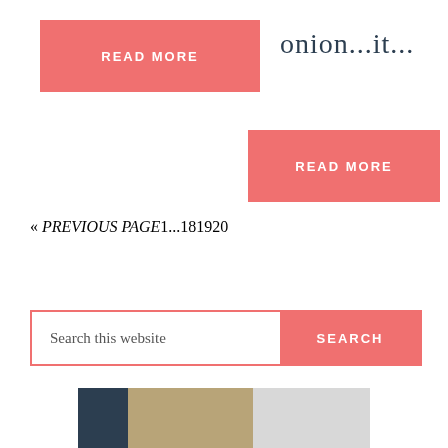READ MORE
onion...it...
READ MORE
« PREVIOUS PAGE  1  ...  18  19  20
Search this website
SEARCH
[Figure (photo): Partial image strip showing dark, beige, and light gray sections at the bottom of the page]